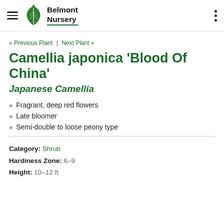Belmont Nursery
« Previous Plant | Next Plant »
Camellia japonica 'Blood Of China'
Japanese Camellia
Fragrant, deep red flowers
Late bloomer
Semi-double to loose peony type
Category: Shrub
Hardiness Zone: 6-9
Height: 10-12 ft